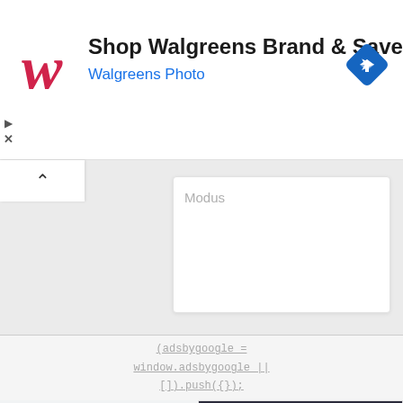[Figure (screenshot): Walgreens ad banner with red cursive W logo, text 'Shop Walgreens Brand & Save' and 'Walgreens Photo' in blue, blue diamond navigation icon on right, small play/close ad indicators on left]
[Figure (screenshot): Browser UI panel with upward caret tab on left and white input box with placeholder text 'Modus' on right]
(adsbygoogle = window.adsbygoogle || []).push({});
[Figure (screenshot): Second advertisement showing a tablet displaying 'Dealer and Distributor Onboarding' software interface with hexagonal graphics, with 'Affordable Revenue Enablement' headline below and orange 'Translate »' button]